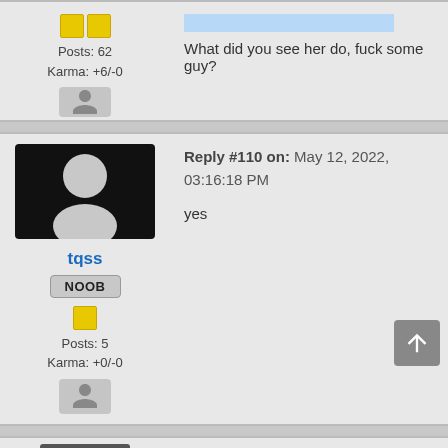Posts: 62
Karma: +6/-0
What did you see her do, fuck some guy?
[Figure (photo): Default user avatar with dark background, circle head and body silhouette in gray]
tqss
NOOB
Posts: 5
Karma: +0/-0
Reply #110 on: May 12, 2022, 03:16:18 PM
yes